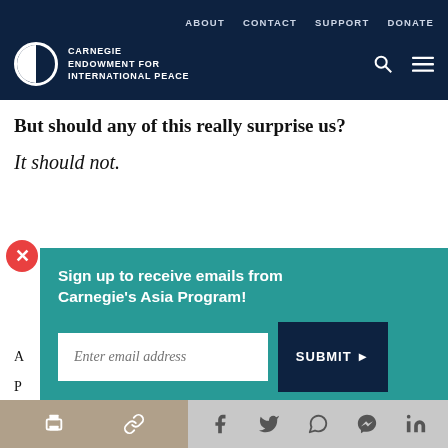ABOUT   CONTACT   SUPPORT   DONATE
[Figure (logo): Carnegie Endowment for International Peace logo with circular emblem and white text on dark navy background]
But should any of this really surprise us?
It should not.
Sign up to receive emails from Carnegie's Asia Program!
benchmark our cookie policy. ambitions against overseas technology pacesetters.
[Figure (screenshot): Bottom share toolbar with print, link, Facebook, Twitter, WhatsApp, Messenger, and LinkedIn icons]